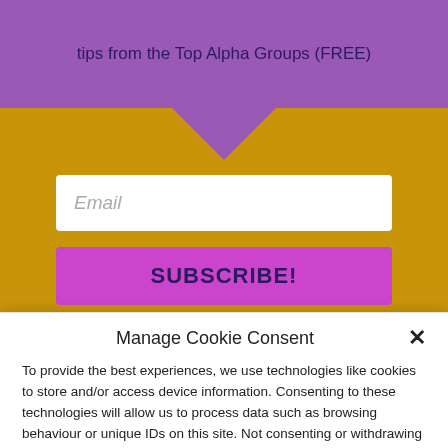tips from the Top Alpha Groups (FREE)
[Figure (screenshot): Email input field placeholder on yellow/gold background with purple notch above]
SUBSCRIBE!
Manage Cookie Consent
To provide the best experiences, we use technologies like cookies to store and/or access device information. Consenting to these technologies will allow us to process data such as browsing behaviour or unique IDs on this site. Not consenting or withdrawing consent, may adversely affect certain features and functions.
Accept